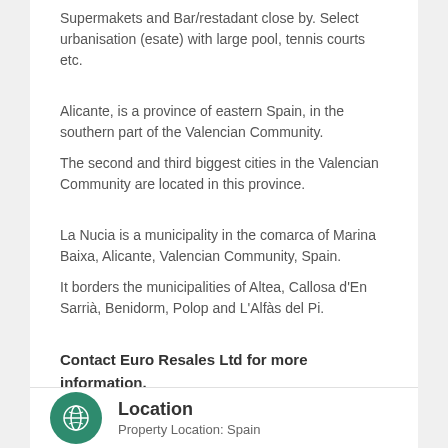Supermakets and Bar/restadant close by. Select urbanisation (esate) with large pool, tennis courts etc.
Alicante, is a province of eastern Spain, in the southern part of the Valencian Community.
The second and third biggest cities in the Valencian Community are located in this province.
La Nucia is a municipality in the comarca of Marina Baixa, Alicante, Valencian Community, Spain.
It borders the municipalities of Altea, Callosa d'En Sarrià, Benidorm, Polop and L'Alfàs del Pi.
Contact Euro Resales Ltd for more information.
If you need to buy or sell property in Spain fast contact us today.
Location
Property Location: Spain